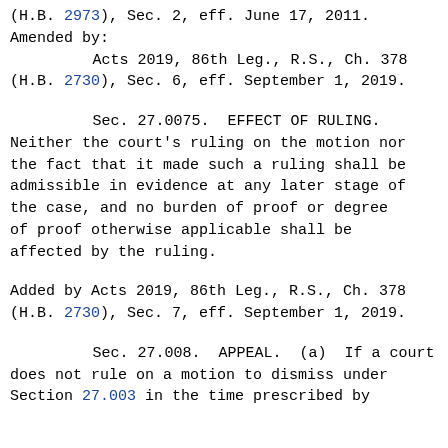(H.B. 2973), Sec. 2, eff. June 17, 2011.
Amended by:
    Acts 2019, 86th Leg., R.S., Ch. 378 (H.B. 2730), Sec. 6, eff. September 1, 2019.
Sec. 27.0075.  EFFECT OF RULING.
Neither the court's ruling on the motion nor the fact that it made such a ruling shall be admissible in evidence at any later stage of the case, and no burden of proof or degree of proof otherwise applicable shall be affected by the ruling.
Added by Acts 2019, 86th Leg., R.S., Ch. 378 (H.B. 2730), Sec. 7, eff. September 1, 2019.
Sec. 27.008.  APPEAL.
(a)  If a court does not rule on a motion to dismiss under Section 27.003 in the time prescribed by